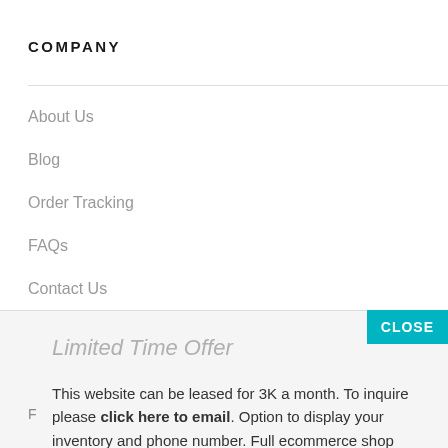COMPANY
About Us
Blog
Order Tracking
FAQs
Contact Us
Login
Limited Time Offer
This website can be leased for 3K a month. To inquire please click here to email. Option to display your inventory and phone number. Full ecommerce shop control and web hosting included.